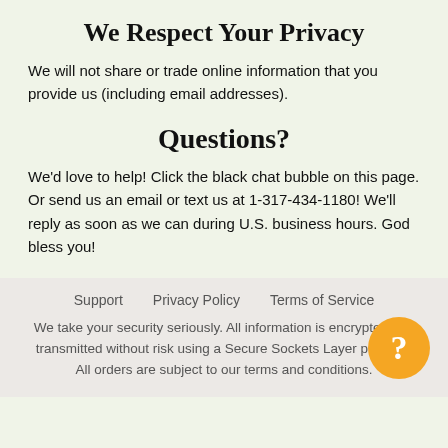We Respect Your Privacy
We will not share or trade online information that you provide us (including email addresses).
Questions?
We'd love to help! Click the black chat bubble on this page. Or send us an email or text us at 1-317-434-1180! We'll reply as soon as we can during U.S. business hours. God bless you!
Support   Privacy Policy   Terms of Service
We take your security seriously. All information is encrypted and transmitted without risk using a Secure Sockets Layer protocol. All orders are subject to our terms and conditions.